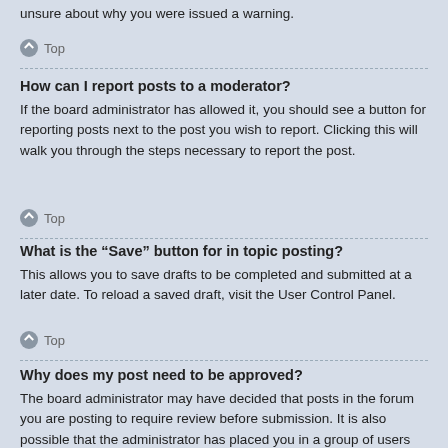unsure about why you were issued a warning.
Top
How can I report posts to a moderator?
If the board administrator has allowed it, you should see a button for reporting posts next to the post you wish to report. Clicking this will walk you through the steps necessary to report the post.
Top
What is the “Save” button for in topic posting?
This allows you to save drafts to be completed and submitted at a later date. To reload a saved draft, visit the User Control Panel.
Top
Why does my post need to be approved?
The board administrator may have decided that posts in the forum you are posting to require review before submission. It is also possible that the administrator has placed you in a group of users whose posts require review before submission. Please contact the board administrator for further details.
Top